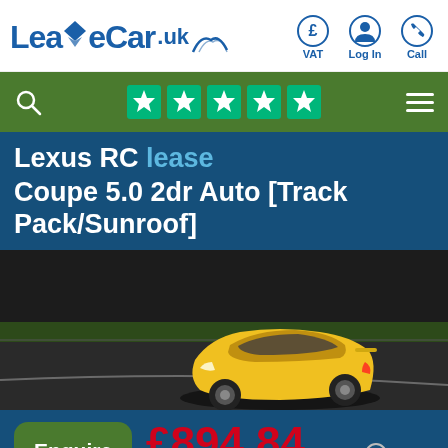[Figure (logo): LeaseCar.uk logo with blue text and stylized diamond/wing motif]
[Figure (infographic): Header icons: VAT (pound sign in circle), Log In (person icon), Call (phone icon)]
[Figure (infographic): Navigation bar with search icon (left), five green Trustpilot stars (center), hamburger menu (right)]
Lexus RC lease
Coupe 5.0 2dr Auto [Track Pack/Sunroof]
[Figure (photo): Yellow Lexus RC sports coupe on a race track, aerial/angled view, dark tarmac and grass visible]
£894.84 ex. VAT
Initial Rental: £5,369.04 ex. VAT
4 year lease 10,000 annual mileage